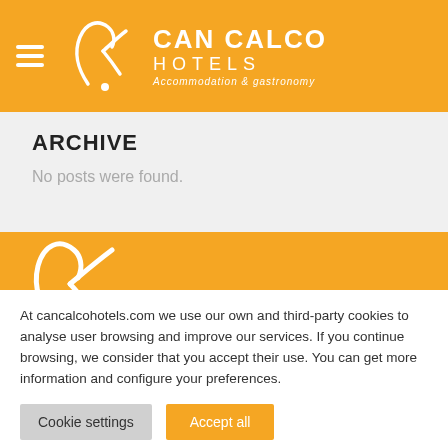Can Calco Hotels — Accommodation & gastronomy
ARCHIVE
No posts were found.
[Figure (logo): Can Calco Hotels logo — orange background with stylized CK monogram and text]
At cancalcohotels.com we use our own and third-party cookies to analyse user browsing and improve our services. If you continue browsing, we consider that you accept their use. You can get more information and configure your preferences.